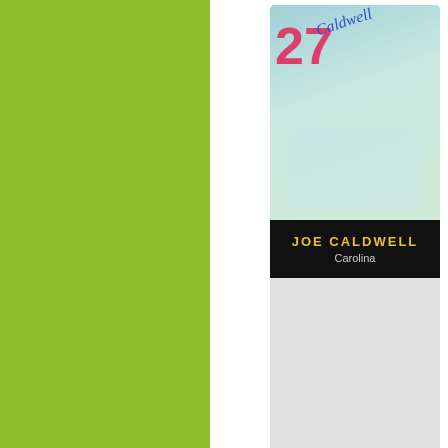[Figure (photo): Cropped view of a 1971 Topps Sticker basketball card showing Joe Caldwell of Carolina. The card has a colorful top with a large pink number 27 and blue autograph signature, a black band with 'JOE CALDWELL' in yellow bold text and 'Carolina' in white text below.]
| Field | Value |
| --- | --- |
| Title | 1971 Topps Stick... |
| Posted By | jaygross  [Profile... |
| Album | Hall of Famer Ro... |
| Player(s) | Joe Caldwell
Louie Dampier
Mike Lewis |
| Message Board Code | [img]https://w... |